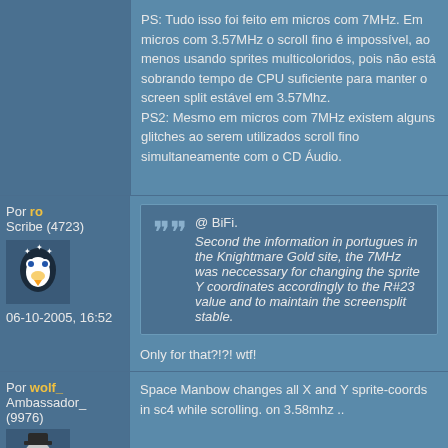PS: Tudo isso foi feito em micros com 7MHz. Em micros com 3.57MHz o scroll fino é impossível, ao menos usando sprites multicoloridos, pois não está sobrando tempo de CPU suficiente para manter o screen split estável em 3.57Mhz.
PS2: Mesmo em micros com 7MHz existem alguns glitches ao serem utilizados scroll fino simultaneamente com o CD Áudio.
Por ro
Scribe (4723)
06-10-2005, 16:52
@ BiFi.
Second the information in portugues in the Knightmare Gold site, the 7MHz was neccessary for changing the sprite Y coordinates accordingly to the R#23 value and to maintain the screensplit stable.

Only for that?!?! wtf!
Por wolf_
Ambassador_ (9976)
Space Manbow changes all X and Y sprite-coords in sc4 while scrolling. on 3.58mhz ..